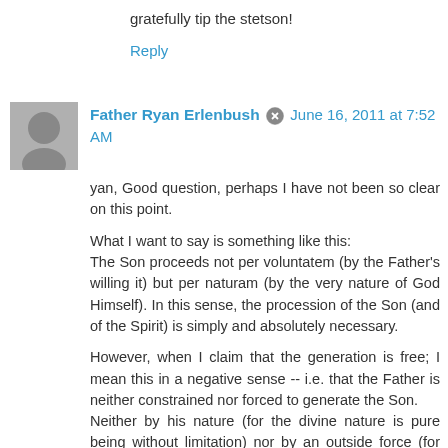gratefully tip the stetson!
Reply
Father Ryan Erlenbush  June 16, 2011 at 7:52 AM
yan, Good question, perhaps I have not been so clear on this point.

What I want to say is something like this:
The Son proceeds not per voluntatem (by the Father's willing it) but per naturam (by the very nature of God Himself). In this sense, the procession of the Son (and of the Spirit) is simply and absolutely necessary.

However, when I claim that the generation is free; I mean this in a negative sense -- i.e. that the Father is neither constrained nor forced to generate the Son.
Neither by his nature (for the divine nature is pure being without limitation) nor by an outside force (for nothing exists excepting that it be created by the Trinity) -- still the generation is per naturam (i.e. it is the very nature of God